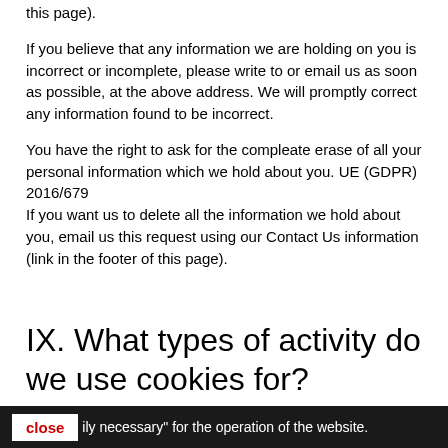this page).
If you believe that any information we are holding on you is incorrect or incomplete, please write to or email us as soon as possible, at the above address. We will promptly correct any information found to be incorrect.
You have the right to ask for the compleate erase of all your personal information which we hold about you. UE (GDPR) 2016/679
If you want us to delete all the information we hold about you, email us this request using our Contact Us information (link in the footer of this page).
IX. What types of activity do we use cookies for?
Shopping Basket (Strictly Necessary Cookies)
Some cookies are essential during online transactions, e.g. to remember what products you have put in your shopping basket as you navigate to different pages on the website. These cookies are "strictly necessary" for the operation of the website.